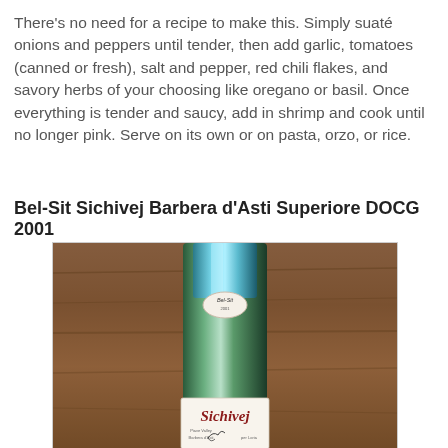There's no need for a recipe to make this. Simply suaté onions and peppers until tender, then add garlic, tomatoes (canned or fresh), salt and pepper, red chili flakes, and savory herbs of your choosing like oregano or basil. Once everything is tender and saucy, add in shrimp and cook until no longer pink. Serve on its own or on pasta, orzo, or rice.
Bel-Sit Sichivej Barbera d'Asti Superiore DOCG 2001
[Figure (photo): Photo of a wine bottle labeled 'Sichivej' with a teal/green foil top and white label, against a wooden background. The bottle shows a small oval label near the top reading 'Bel-Sit' and a decorative script label reading 'Sichivej' lower on the bottle.]